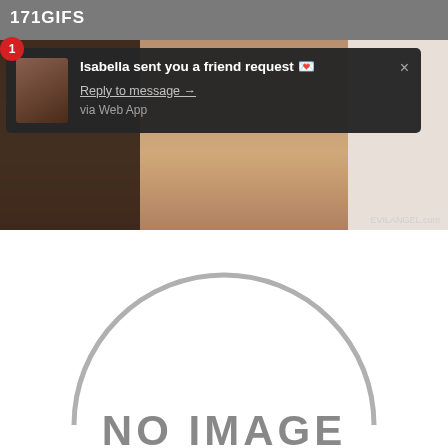[Figure (screenshot): Screenshot of a website labeled '171GIFS' showing adult content with a browser notification overlay. The notification reads 'Isabella sent you a friend request' with a 'Reply to message →' link and 'via Web App' text. A red badge with '1' appears on the notification. An 'x' close button is visible top right of the notification.]
[Figure (illustration): Placeholder image showing a grey semicircle arc and the text 'NO IMAGE' in large grey letters on white background.]